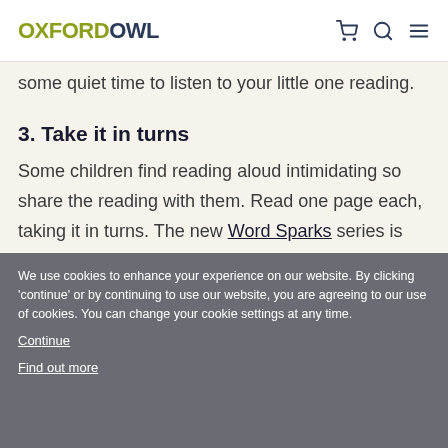OXFORDOWL
some quiet time to listen to your little one reading.
3. Take it in turns
Some children find reading aloud intimidating so share the reading with them. Read one page each, taking it in turns. The new Word Sparks series is absolutely perfect for this as there is a page for an adult to read and then a page for the child. These books are available for all the Book Band levels, so you can find one matched to your child's reading
We use cookies to enhance your experience on our website. By clicking 'continue' or by continuing to use our website, you are agreeing to our use of cookies. You can change your cookie settings at any time.
Continue
Find out more